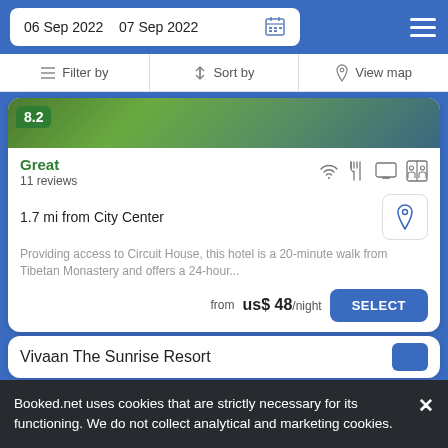06 Sep 2022   07 Sep 2022
Filter by   Sort by   View map
[Figure (screenshot): Hotel image strip with green rating badge showing 8.2]
Great
11 reviews
1.7 mi from City Center
Providing access to Circuit House, this hotel is a 20-minute walk from Tibetan Monastery and offers a 24-hour...
from  us$ 48/night
SELECT
Vivaan The Sunrise Resort
Booked.net uses cookies that are strictly necessary for its functioning. We do not collect analytical and marketing cookies.